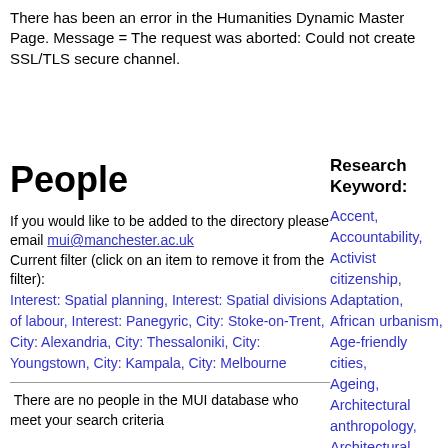There has been an error in the Humanities Dynamic Master Page. Message = The request was aborted: Could not create SSL/TLS secure channel.
People
Research Keyword:
If you would like to be added to the directory please email mui@manchester.ac.uk
Current filter (click on an item to remove it from the filter):
Interest: Spatial planning, Interest: Spatial divisions of labour, Interest: Panegyric, City: Stoke-on-Trent, City: Alexandria, City: Thessaloniki, City: Youngstown, City: Kampala, City: Melbourne
There are no people in the MUI database who meet your search criteria
Accent, Accountability, Activist citizenship, Adaptation, African urbanism, Age-friendly cities, Ageing, Architectural anthropology, Architectural drawing, Architectural ethnography, Architecture, Art, Aspiration, Atmosphere, Austerity,